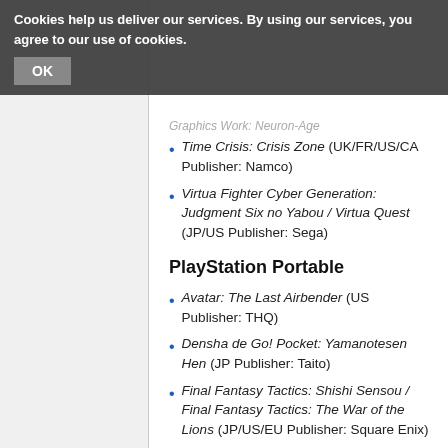Cookies help us deliver our services. By using our services, you agree to our use of cookies. OK
Time Crisis: Crisis Zone (UK/FR/US/CA Publisher: Namco)
Virtua Fighter Cyber Generation: Judgment Six no Yabou / Virtua Quest (JP/US Publisher: Sega)
PlayStation Portable
Avatar: The Last Airbender (US Publisher: THQ)
Densha de Go! Pocket: Yamanotesen Hen (JP Publisher: Taito)
Final Fantasy Tactics: Shishi Sensou / Final Fantasy Tactics: The War of the Lions (JP/US/EU Publisher: Square Enix)
Goku Makaimura / Ultimate Ghosts'n Goblins (JP/US Publisher: Capcom)